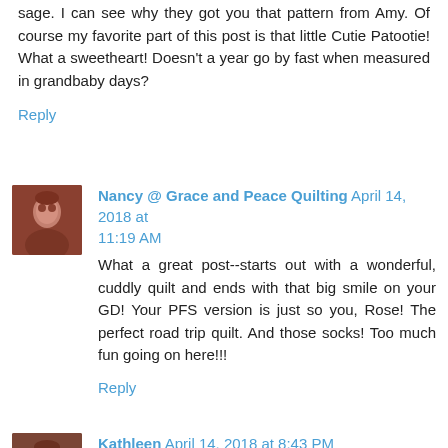sage. I can see why they got you that pattern from Amy. Of course my favorite part of this post is that little Cutie Patootie! What a sweetheart! Doesn't a year go by fast when measured in grandbaby days?
Reply
Nancy @ Grace and Peace Quilting April 14, 2018 at 11:19 AM
What a great post--starts out with a wonderful, cuddly quilt and ends with that big smile on your GD! Your PFS version is just so you, Rose! The perfect road trip quilt. And those socks! Too much fun going on here!!!
Reply
Kathleen April 14, 2018 at 8:43 PM
Micah Rose is so beautiful! I love the little finger up for her birthday. Those shot cottons are glorious and there is nothing like them. The quilt is just gorgeous and you should be proud of all your catching up.